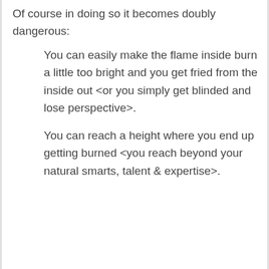Of course in doing so it becomes doubly dangerous:
You can easily make the flame inside burn a little too bright and you get fried from the inside out <or you simply get blinded and lose perspective>.
You can reach a height where you end up getting burned <you reach beyond your natural smarts, talent & expertise>.